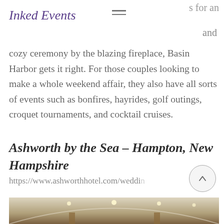s for an
Inked Events
and
cozy ceremony by the blazing fireplace, Basin Harbor gets it right. For those couples looking to make a whole weekend affair, they also have all sorts of events such as bonfires, hayrides, golf outings, croquet tournaments, and cocktail cruises.
Ashworth by the Sea – Hampton, New Hampshire
https://www.ashworthhotel.com/weddi
[Figure (photo): Interior photo of a hotel ballroom or event space with arched ceiling and recessed lighting]